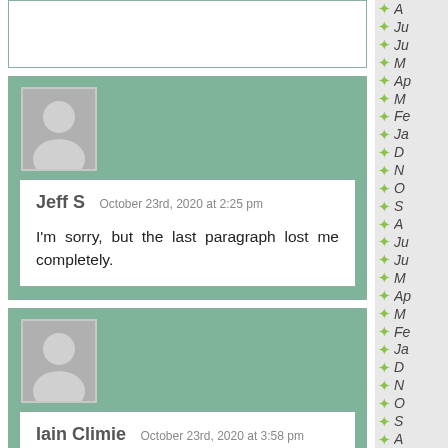[truncated comment box at top]
Jeff S   October 23rd, 2020 at 2:25 pm
I'm sorry, but the last paragraph lost me completely.
Iain Climie   October 23rd, 2020 at 3:58 pm
HI Jeff S,
Imagine S has Dxx not As when